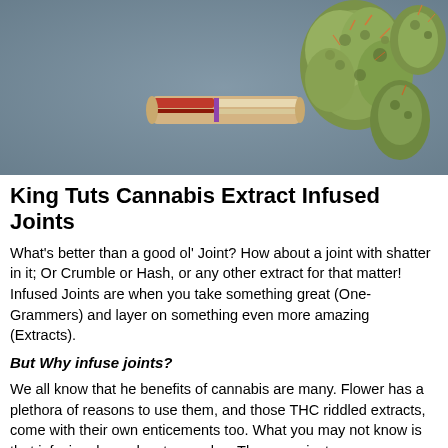[Figure (photo): Photo showing a rolling paper tube/joint and cannabis buds on a dark grey-blue surface]
King Tuts Cannabis Extract Infused Joints
What's better than a good ol' Joint? How about a joint with shatter in it; Or Crumble or Hash, or any other extract for that matter! Infused Joints are when you take something great (One-Grammers) and layer on something even more amazing (Extracts).
But Why infuse joints?
We all know that he benefits of cannabis are many. Flower has a plethora of reasons to use them, and those THC riddled extracts, come with their own enticements too. What you may not know is that infusing  has advantages also. These are just